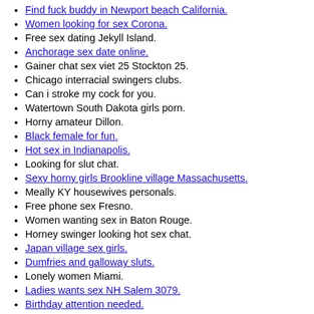Find fuck buddy in Newport beach California.
Women looking for sex Corona.
Free sex dating Jekyll Island.
Anchorage sex date online.
Gainer chat sex viet 25 Stockton 25.
Chicago interracial swingers clubs.
Can i stroke my cock for you.
Watertown South Dakota girls porn.
Horny amateur Dillon.
Black female for fun.
Hot sex in Indianapolis.
Looking for slut chat.
Sexy horny girls Brookline village Massachusetts.
Meally KY housewives personals.
Free phone sex Fresno.
Women wanting sex in Baton Rouge.
Horney swinger looking hot sex chat.
Japan village sex girls.
Dumfries and galloway sluts.
Lonely women Miami.
Ladies wants sex NH Salem 3079.
Birthday attention needed.
Top Chatlines in Newark, NJ With Free Trial Phone s